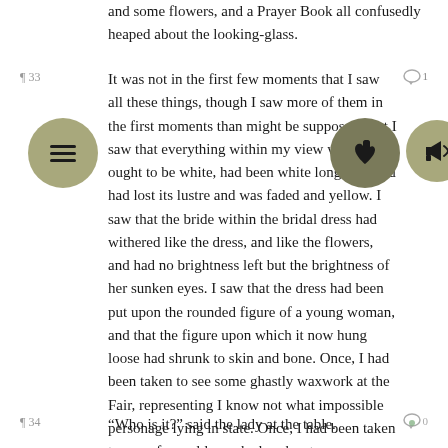and some flowers, and a Prayer Book all confusedly heaped about the looking-glass.
It was not in the first few moments that I saw all these things, though I saw more of them in the first moments than might be supposed. But I saw that everything within my view which ought to be white, had been white long ago, and had lost its lustre and was faded and yellow. I saw that the bride within the bridal dress had withered like the dress, and like the flowers, and had no brightness left but the brightness of her sunken eyes. I saw that the dress had been put upon the rounded figure of a young woman, and that the figure upon which it now hung loose had shrunk to skin and bone. Once, I had been taken to see some ghastly waxwork at the Fair, representing I know not what impossible personage lying in state. Once, I had been taken to one of our old marsh churches to see a skeleton in the ashes of a rich dress that had been dug out of a vault under the church pavement. Now, waxwork and skeleton seemed to have dark eyes that moved and looked at me. I should have cried out, if I could.
“Who is it?” said the lady at the table.